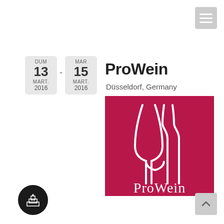[Figure (other): Hamburger menu icon button, grey square with three white horizontal lines, top-right corner]
DUM
13
MART.
2016
MAR
15
MART.
2016
ProWein
Düsseldorf, Germany
[Figure (logo): ProWein logo: dark red/crimson square background with white outline of a wine glass and a wine bottle merged into a single abstract shape at the top, and 'ProWein' written in white serif-style text at the bottom]
[Figure (other): Black circle button with a white building/monument icon, bottom-left corner]
[Figure (other): Grey square button with upward arrow, bottom-right corner]